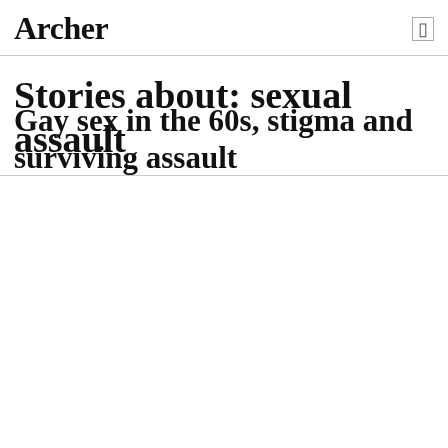Archer
Stories about: sexual assault
Gay sex in the 60s, stigma and surviving assault